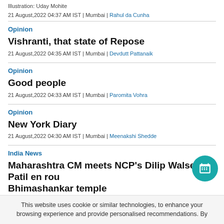Illustration: Uday Mohite
21 August,2022 04:37 AM IST | Mumbai | Rahul da Cunha
Opinion
Vishranti, that state of Repose
21 August,2022 04:35 AM IST | Mumbai | Devdutt Pattanaik
Opinion
Good people
21 August,2022 04:33 AM IST | Mumbai | Paromita Vohra
Opinion
New York Diary
21 August,2022 04:30 AM IST | Mumbai | Meenakshi Shedde
India News
Maharashtra CM meets NCP's Dilip Walse Patil en rou... Bhimashankar temple
This website uses cookie or similar technologies, to enhance your browsing experience and provide personalised recommendations. By